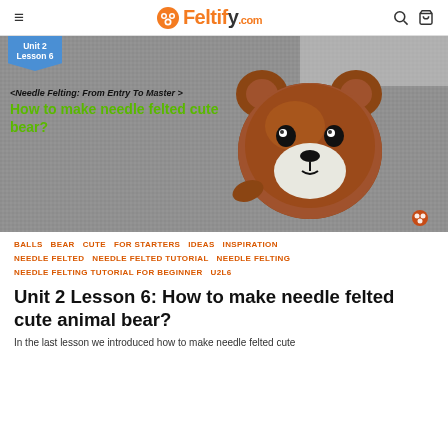≡  Feltify.com  🔍  🛍
[Figure (photo): Needle felted cute brown bear head on a gray textured fabric background, with a blue banner badge showing 'Unit 2 Lesson 6' and overlaid text '<Needle Felting: From Entry To Master>' and 'How to make needle felted cute bear?' in green bold font. Feltify.com logo watermark in bottom right.]
BALLS  BEAR  CUTE  FOR STARTERS  IDEAS  INSPIRATION  NEEDLE FELTED  NEEDLE FELTED TUTORIAL  NEEDLE FELTING  NEEDLE FELTING TUTORIAL FOR BEGINNER  U2L6
Unit 2 Lesson 6: How to make needle felted cute animal bear?
In the last lesson we introduced how to make needle felted cute